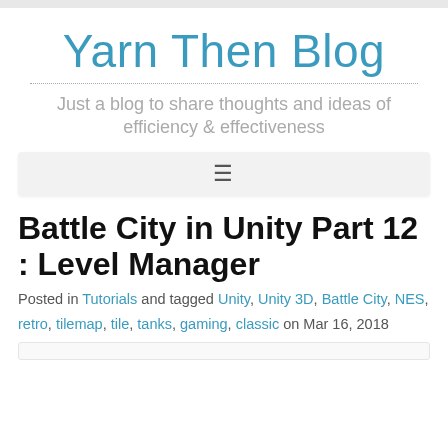Yarn Then Blog
Just a blog to share thoughts and ideas of
efficiency & effectiveness
Battle City in Unity Part 12 : Level Manager
Posted in Tutorials and tagged Unity, Unity 3D, Battle City, NES, retro, tilemap, tile, tanks, gaming, classic on Mar 16, 2018